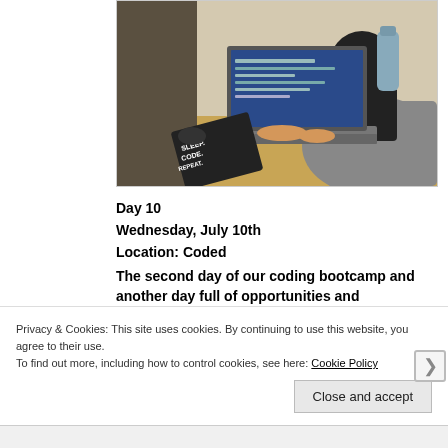[Figure (photo): A person with long dark hair sitting at a desk working on a laptop. On the desk there is a notebook with 'EAT. SLEEP. CODE. REPEAT.' written on the cover, a water bottle, and other items. The laptop screen shows code or a browser.]
Day 10
Wednesday, July 10th
Location: Coded
The second day of our coding bootcamp and another day full of opportunities and experiences
Privacy & Cookies: This site uses cookies. By continuing to use this website, you agree to their use.
To find out more, including how to control cookies, see here: Cookie Policy